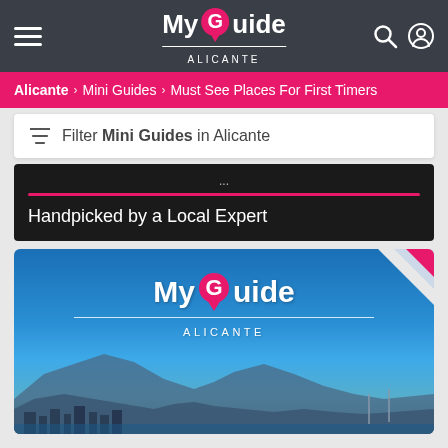My Guide ALICANTE
Alicante > Mini Guides > Must See Places For First Timers
Filter Mini Guides in Alicante
Handpicked by a Local Expert
[Figure (screenshot): My Guide Alicante logo card with city skyline background showing mountains, waterfront buildings and sailboats under blue sky]